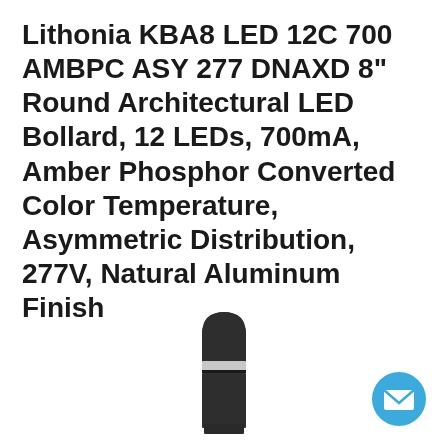Lithonia KBA8 LED 12C 700 AMBPC ASY 277 DNAXD 8" Round Architectural LED Bollard, 12 LEDs, 700mA, Amber Phosphor Converted Color Temperature, Asymmetric Distribution, 277V, Natural Aluminum Finish
[Figure (photo): Top portion of a dark/black round architectural LED bollard light fixture with a domed cap and a light-diffusing band near the top]
[Figure (illustration): Blue circular email/contact button icon with white envelope symbol]